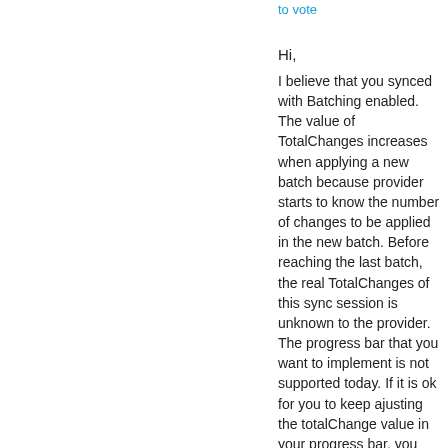to vote
Hi,
I believe that you synced with Batching enabled. The value of TotalChanges increases when applying a new batch because provider starts to know the number of changes to be applied in the new batch. Before reaching the last batch, the real TotalChanges of this sync session is unknown to the provider. The progress bar that you want to implement is not supported today. If it is ok for you to keep ajusting the totalChange value in your progress bar, you can still use your equation to display the progress. It is not perfect, but there is no better solution so far.
Thanks,
Dong
This posting is provided AS IS with no warranties, and confers no rights.
Proposed as answer by  Dong Cao